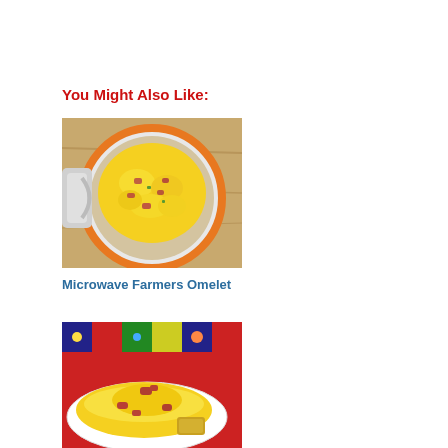You Might Also Like:
[Figure (photo): Top-down view of a mug containing scrambled eggs with ham and vegetables, sitting on a wooden surface with an orange mug handle visible]
Microwave Farmers Omelet
[Figure (photo): A yellow folded omelet topped with diced ham on a white plate, with toast and a colorful patterned napkin in the background]